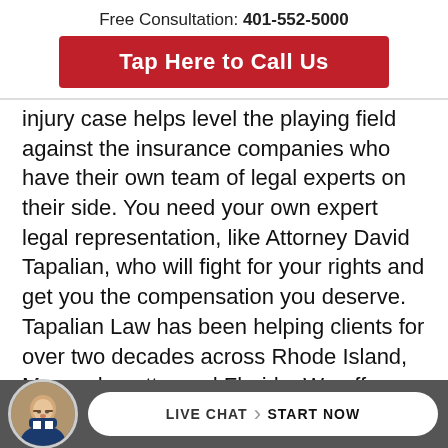Free Consultation: 401-552-5000
Tap Here to Call Us
injury case helps level the playing field against the insurance companies who have their own team of legal experts on their side. You need your own expert legal representation, like Attorney David Tapalian, who will fight for your rights and get you the compensation you deserve. Tapalian Law has been helping clients for over two decades across Rhode Island, Massachusetts, and Florida. We offer no-cost, in-person consultations at our Providence, Warwick, Seekonk, or Fort Lauderdale offices,
LIVE CHAT  START NOW